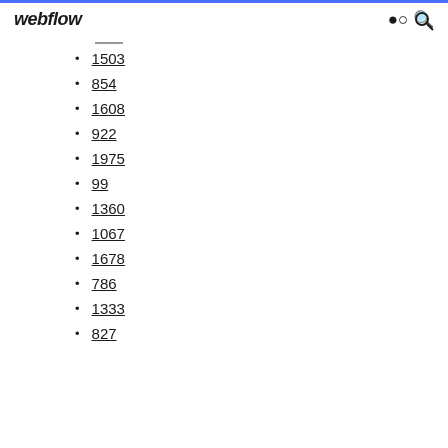webflow
1503
854
1608
922
1975
99
1360
1067
1678
786
1333
827